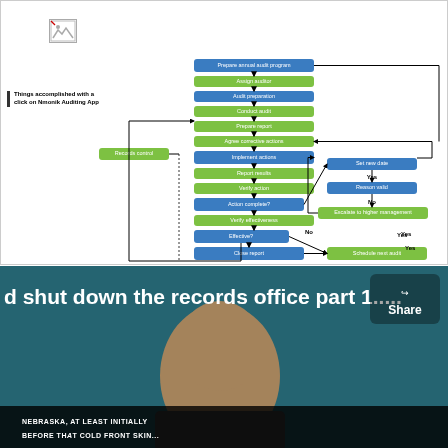[Figure (other): Broken image placeholder icon in top-left of white section]
Things accomplished with a click on Nmonik Auditing App
[Figure (flowchart): Flowchart showing audit process steps: Prepare annual audit program → Assign auditor → Audit preparation → Conduct audit → Prepare report → Agree corrective actions → Implement actions → Report results → Verify action → Action complete? → Verify effectiveness → Effective? → Close report. Side branches: Set new date → Yes → Reason valid → No → Escalate to higher management. Records control on left. Schedule next audit on right of Close report. Yes loop back on left, No leads right from Effective.]
[Figure (screenshot): Video thumbnail showing a bald man with text 'd shut down the records office part 1....', Share button top right, TV screen at bottom with text 'NEBRASKA, AT LEAST INITIALLY BEFORE THAT COLD FRONT SKIN...']